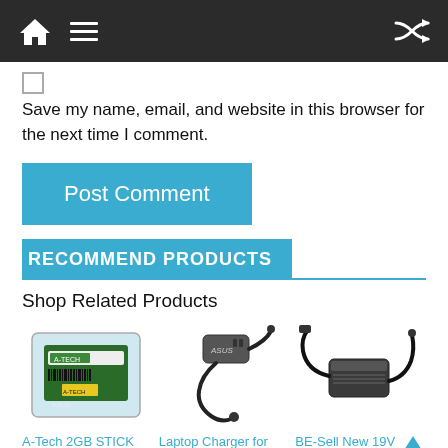Navigation bar with home, menu, and shuffle icons
Save my name, email, and website in this browser for the next time I comment.
Post Comment
RECOMMEND PRODUCTS
Shop Related Products
[Figure (photo): A-Tech 2GB STICK RAM module in plastic packaging]
[Figure (photo): Laptop Charger for Samsung Notebook, black charger with cable]
[Figure (photo): BE-Sell New 19V 3.15/3.16A 60W AC power adapter]
A-Tech 2GB STICK For Samsung N Seri
Laptop Charger for Samsung Notebook
BE-Sell New 19V 3.15/3.16A 60W AC